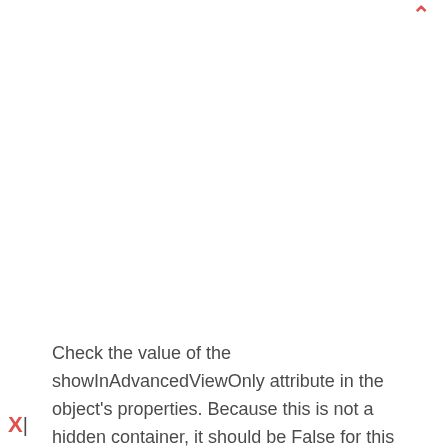[Figure (other): Red upward-pointing caret/arrow symbol in top-right corner]
Check the value of the showInAdvancedViewOnly attribute in the object's properties. Because this is not a hidden container, it should be False for this container. Select the Edit option.
[Figure (other): Red X mark with vertical bar in bottom-left corner]